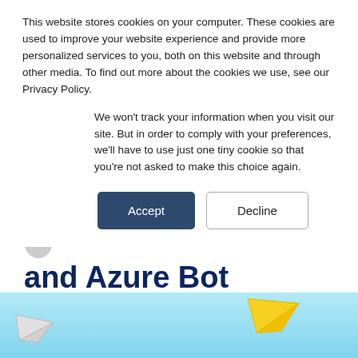This website stores cookies on your computer. These cookies are used to improve your website experience and provide more personalized services to you, both on this website and through other media. To find out more about the cookies we use, see our Privacy Policy.
We won't track your information when you visit our site. But in order to comply with your preferences, we'll have to use just one tiny cookie so that you're not asked to make this choice again.
[Figure (other): Two buttons: Accept (dark blue filled) and Decline (white with border)]
and Azure Bot Service to Create an FAQ Bot in Minutes
[Figure (illustration): Light blue background with yellow paper plane and gray paper plane illustration at the bottom of the page]